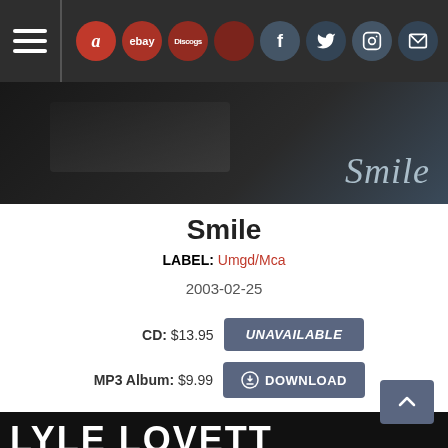Navigation bar with hamburger menu and icons: amazon, ebay, discogs, vinyl, facebook, twitter, instagram, mail
[Figure (photo): Top portion of album art showing dark background with cursive 'Smile' text in light blue]
Smile
LABEL: Umgd/Mca
2003-02-25
CD: $13.95   UNAVAILABLE
MP3 Album: $9.99   DOWNLOAD
[Figure (photo): Album art for Lyle Lovett Anthology Volume One showing bold white text on dark background]